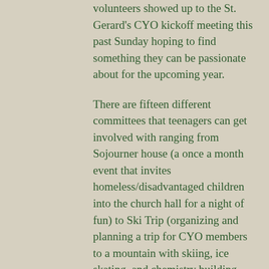volunteers showed up to the St. Gerard's CYO kickoff meeting this past Sunday hoping to find something they can be passionate about for the upcoming year.
There are fifteen different committees that teenagers can get involved with ranging from Sojourner house (a once a month event that invites homeless/disadvantaged children into the church hall for a night of fun) to Ski Trip (organizing and planning a trip for CYO members to a mountain with skiing, ice skating, and chemistry building activities) with many other in between.
The CYO program has been run for over 25 years and has developed in every year since its pilot. Jan Mcguire and Mike Mahan are the adults who oversee the operations but a heavy amount of